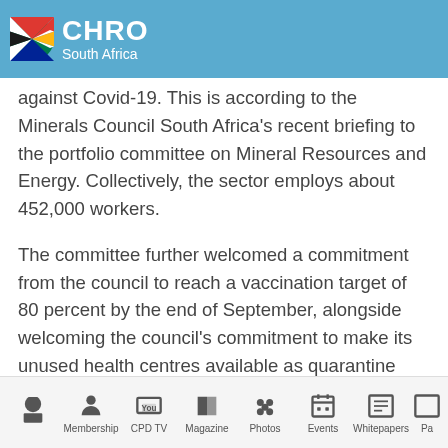CHRO South Africa
against Covid-19. This is according to the Minerals Council South Africa's recent briefing to the portfolio committee on Mineral Resources and Energy. Collectively, the sector employs about 452,000 workers.
The committee further welcomed a commitment from the council to reach a vaccination target of 80 percent by the end of September, alongside welcoming the council's commitment to make its unused health centres available as quarantine
Home | Membership | CPD TV | Magazine | Photos | Events | Whitepapers | Pa